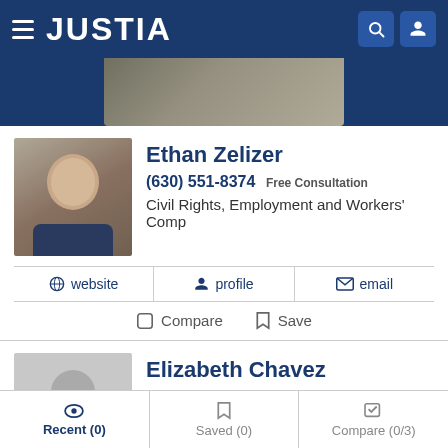JUSTIA
[Figure (photo): Justia website banner with owl/animal image in background]
[Figure (photo): Professional headshot of Ethan Zelizer, male attorney in suit]
Ethan Zelizer
(630) 551-8374 Free Consultation
Civil Rights, Employment and Workers' Comp
website | profile | email
Compare  Save
[Figure (photo): Placeholder silhouette photo for Elizabeth Chavez]
Elizabeth Chavez
(630) 232-7450
Civil Rights, Antitrust and Employment
Recent (0)  Saved (0)  Compare (0/3)